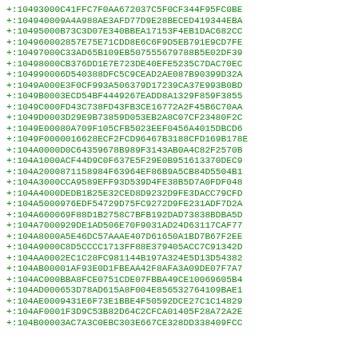+:10493000C41FFC7F0AA672037C5F0CF344F95FC0BE
+:104940009A4A988AE3AFD77D9E28BECED419344EBA
+:10495000B73C3D07E340BBEA17153F4EB1DAC682CC
+:104960002857E75E71CDD8E6C6F9D5EB791E9CD7FE
+:10497000C33AD65B109EB507555679788B5E02DF39
+:10498000CB376DD1E7E723DE40EFE5235C7DAC70EC
+:104990006D540388DFC5C9CEAD2AE087B90399D32A
+:1049A000E3F0CF993A506379D17239CA37E993B0BD
+:1049B0003ECD54BF4449267EADD8A1329F859F3855
+:1049C000FD43C738FD43FB3CE16772A2F45B6C70AA
+:1049D0003D29E9B73859D053EB2A8C07CF23480F2C
+:1049E00080A709F105CFB5023EEF0456A4015DBCD6
+:1049F0000016628ECF2FCD96467B3188CFD169B178E
+:104A0000D0C64359678B989F3143AB0A4C82F2570B
+:104A1000ACF44D9C0F637E5F29E0B951613370DEC9
+:104A2000871158984F63964EF86B9A5CB84D5504B1
+:104A3000CCA9589EFF93D539D4FE38B5D7A0FDF048
+:104A4000DEDB1B25E32CED8D9232D9FE3DACC79CFD
+:104A5000976EDF54729D75FC9272D9FE231ADF7D2A
+:104A600069F88D1B2758C7BFB192DAD73838BDBA5D
+:104A7000929DE1AD506E70F9031AD24D63117CAF77
+:104A8000A5E46DC57AAAE407D61650A1BD7B67F2EE
+:104A9000C8D5CCCC1713FF88E379405ACC7C91342D
+:104AA0002EC1C28FC981144B197A324E5D13D54382
+:104AB00001AF93E0D1FBEAA42F8AFA3A09DE07F7A7
+:104AC000BBA8FCE0751CDE07FBBA49CE10069605B4
+:104AD000653D78AD615A8F004E856532764109BAE1
+:104AE0009431E6F73E1BBE4F50592DCE27C1C14829
+:104AF0001F3D9C53B82D64C2CFCA01405F28A72A2E
+:104B00003AC7A3C0EBC303E667CE328DD338409FCC